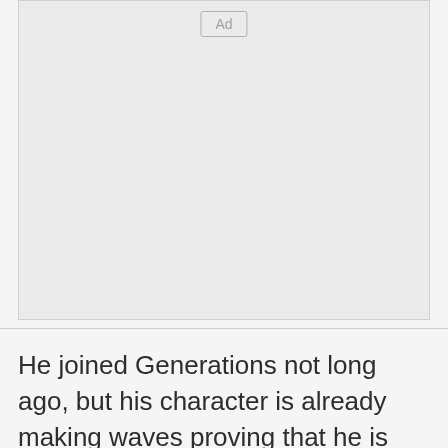[Figure (other): Advertisement placeholder box with 'Ad' label button at top center]
He joined Generations not long ago, but his character is already making waves proving that he is indeed a legendary actor. Muzi has